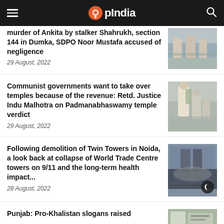OpIndia
murder of Ankita by stalker Shahrukh, section 144 in Dumka, SDPO Noor Mustafa accused of negligence
29 August, 2022
[Figure (photo): Photo of people standing outdoors]
Communist governments want to take over temples because of the revenue: Retd. Justice Indu Malhotra on Padmanabhaswamy temple verdict
29 August, 2022
[Figure (photo): Photo of a man in white shirt holding something with others in background]
Following demolition of Twin Towers in Noida, a look back at collapse of World Trade Centre towers on 9/11 and the long-term health impact...
28 August, 2022
[Figure (photo): Photo of a building being demolished with dust cloud]
Punjab: Pro-Khalistan slogans raised
[Figure (photo): Photo related to Punjab news item]